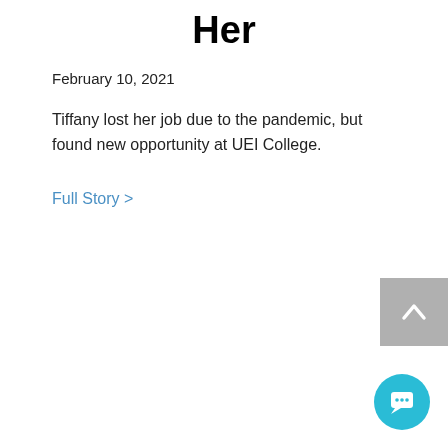Her
February 10, 2021
Tiffany lost her job due to the pandemic, but found new opportunity at UEI College.
Full Story >